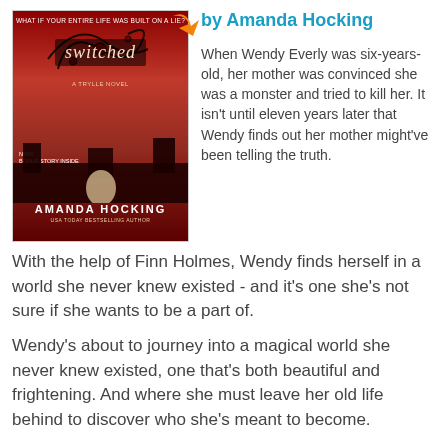[Figure (illustration): Book cover of 'Switched' by Amanda Hocking — a Trylle novel. Red/dark background with castle silhouette, woman in white dress in poppy field, decorative swirl design, title 'switched' in stylized font. Small text at top: 'WHAT IF YOUR ENTIRE LIFE WAS BUILT ON A LIE?'. Author name 'AMANDA HOCKING' at bottom. Orange arrow pointing to the book from upper right.]
by Amanda Hocking
When Wendy Everly was six-years-old, her mother was convinced she was a monster and tried to kill her. It isn't until eleven years later that Wendy finds out her mother might've been telling the truth.
With the help of Finn Holmes, Wendy finds herself in a world she never knew existed - and it's one she's not sure if she wants to be a part of.
Wendy's about to journey into a magical world she never knew existed, one that's both beautiful and frightening. And where she must leave her old life behind to discover who she's meant to become.